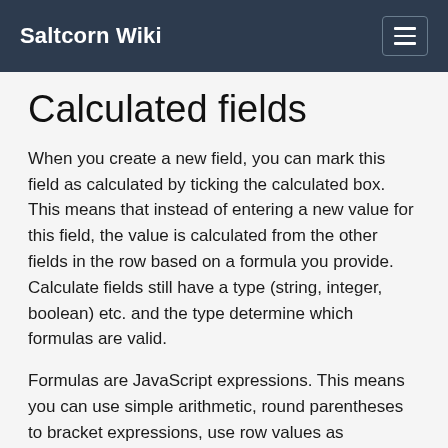Saltcorn Wiki
Calculated fields
When you create a new field, you can mark this field as calculated by ticking the calculated box. This means that instead of entering a new value for this field, the value is calculated from the other fields in the row based on a formula you provide. Calculate fields still have a type (string, integer, boolean) etc. and the type determine which formulas are valid.
Formulas are JavaScript expressions. This means you can use simple arithmetic, round parentheses to bracket expressions, use row values as variables, and you can use comparison operators < > etc.
Formulas are not JavaScript statements. This means that they should not include a semicolon at the end and they cannot